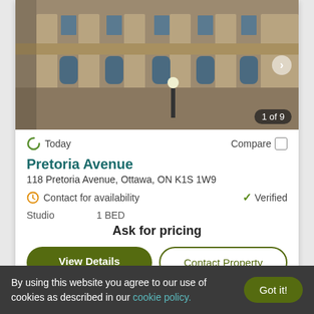[Figure (photo): Exterior photo of a historic stone building with ornate Gothic-style architecture. Shows stone columns, arched windows, and decorative carvings. Image counter shows '1 of 9' in bottom-right corner.]
Today
Compare
Pretoria Avenue
118 Pretoria Avenue, Ottawa, ON K1S 1W9
Contact for availability
Verified
Studio
1 BED
Ask for pricing
View Details
Contact Property
By using this website you agree to our use of cookies as described in our cookie policy.
Got it!